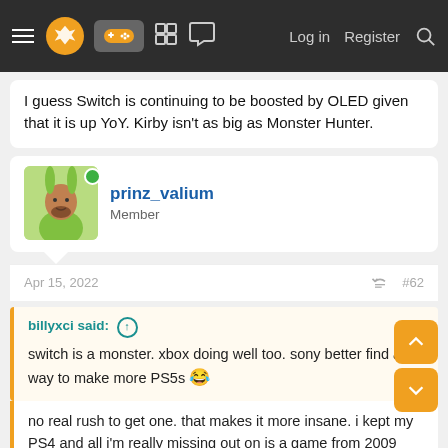Navigation bar with menu, logo, gamepad icon, grid, chat, Log in, Register, Search
I guess Switch is continuing to be boosted by OLED given that it is up YoY. Kirby isn't as big as Monster Hunter.
prinz_valium
Member
Apr 15, 2022  #62
billyxci said: ↑
switch is a monster. xbox doing well too. sony better find a way to make more PS5s 😂
no real rush to get one. that makes it more insane. i kept my PS4 and all i'm really missing out on is a game from 2009 (demons souls). can play HFW, GT7 and God of War whenever it's out.
You miss out on not wasting hours of lifetime you never get